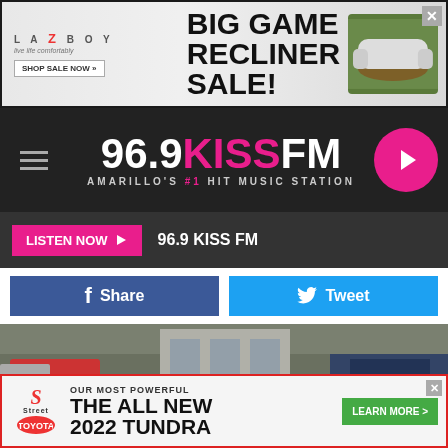[Figure (screenshot): La-Z-Boy Big Game Recliner Sale advertisement banner with shop sale now button]
[Figure (logo): 96.9 KISS FM - Amarillo's #1 Hit Music Station radio station header with hamburger menu and play button]
LISTEN NOW ▶   96.9 KISS FM
[Figure (screenshot): Facebook Share and Twitter Tweet social sharing buttons]
[Figure (photo): Street view photo of a commercial building parking lot - Google Maps]
Google Maps
Osage Airpark
[Figure (screenshot): Map screenshot showing location with airplane pin marker]
[Figure (screenshot): Street Toyota - Our Most Powerful The All New 2022 Tundra - Learn More advertisement]